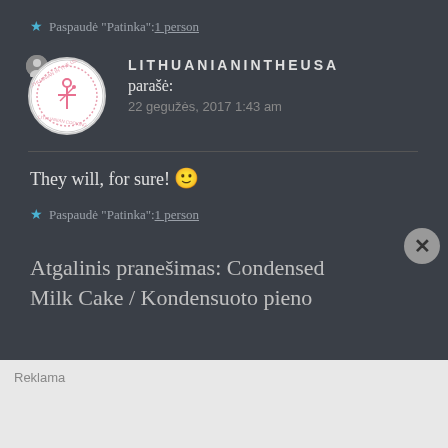★ Paspaudė "Patinka": 1 person
[Figure (logo): Round logo/avatar for LithuanianInTheUSA blog with circular text and illustration]
LITHUANIANINTHEUSA
parašė:
22 gegužės, 2017 1:43 am
They will, for sure! 🙂
★ Paspaudė "Patinka": 1 person
Atgalinis pranešimas: Condensed Milk Cake / Kondensuoto pieno
Reklama